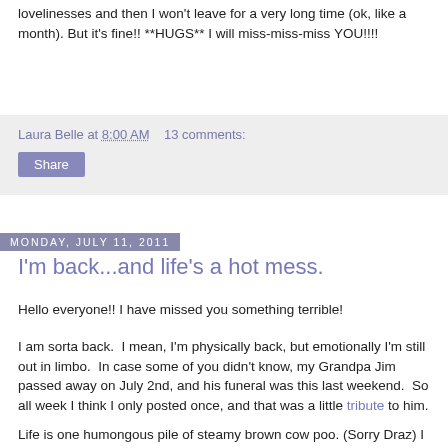lovelinesses and then I won't leave for a very long time (ok, like a month). But it's fine!!  **HUGS** I will miss-miss-miss YOU!!!!
Laura Belle at 8:00 AM   13 comments:
Share
Monday, July 11, 2011
I'm back...and life's a hot mess.
Hello everyone!! I have missed you something terrible!
I am sorta back.  I mean, I'm physically back, but emotionally I'm still out in limbo.  In case some of you didn't know, my Grandpa Jim passed away on July 2nd, and his funeral was this last weekend.  So all week I think I only posted once, and that was a little tribute to him.
Life is one humongous pile of steamy brown cow poo. (Sorry Draz) I feel like I'm on a roller-coaster....naked....and hopped